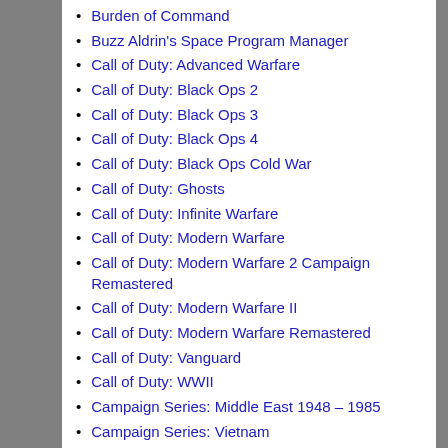Burden of Command
Buzz Aldrin's Space Program Manager
Call of Duty: Advanced Warfare
Call of Duty: Black Ops 2
Call of Duty: Black Ops 3
Call of Duty: Black Ops 4
Call of Duty: Black Ops Cold War
Call of Duty: Ghosts
Call of Duty: Infinite Warfare
Call of Duty: Modern Warfare
Call of Duty: Modern Warfare 2 Campaign Remastered
Call of Duty: Modern Warfare II
Call of Duty: Modern Warfare Remastered
Call of Duty: Vanguard
Call of Duty: WWII
Campaign Series: Middle East 1948 – 1985
Campaign Series: Vietnam
Carrier Deck
Cases
Chain of Command
Check Your 6!
Check Your 6!